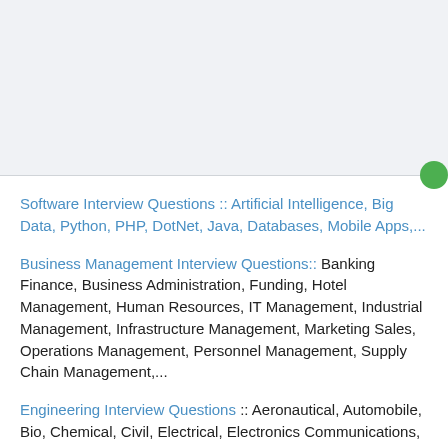Software Interview Questions :: Artificial Intelligence, Big Data, Python, PHP, DotNet, Java, Databases, Mobile Apps,...
Business Management Interview Questions:: Banking Finance, Business Administration, Funding, Hotel Management, Human Resources, IT Management, Industrial Management, Infrastructure Management, Marketing Sales, Operations Management, Personnel Management, Supply Chain Management,...
Engineering Interview Questions :: Aeronautical, Automobile, Bio, Chemical, Civil, Electrical, Electronics Communications, Industrial, Instrumentation, Marine, Mechanical, Mechatronics, Metallurgy, Power Plant,...